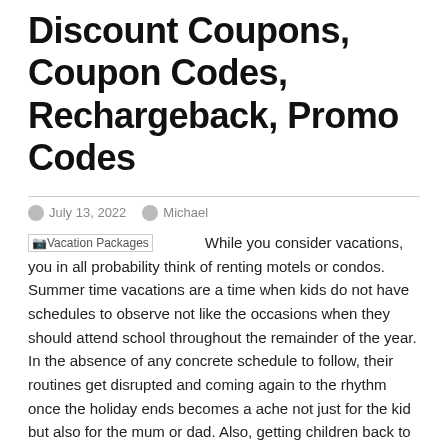Discount Coupons, Coupon Codes, Rechargeback, Promo Codes
July 13, 2022   Michael
[Vacation Packages]  While you consider vacations, you in all probability think of renting motels or condos. Summer time vacations are a time when kids do not have schedules to observe not like the occasions when they should attend school throughout the remainder of the year. In the absence of any concrete schedule to follow, their routines get disrupted and coming again to the rhythm once the holiday ends becomes a ache not just for the kid but also for the mum or dad. Also, getting children back to learning after an enormous break becomes a process